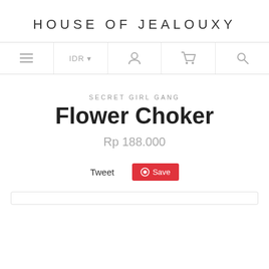HOUSE OF JEALOUXY
[Figure (screenshot): Navigation bar with hamburger menu, IDR currency selector, user icon, shopping cart icon, and search icon]
SECRET GIRL GANG
Flower Choker
Rp 188.000
Tweet  Save